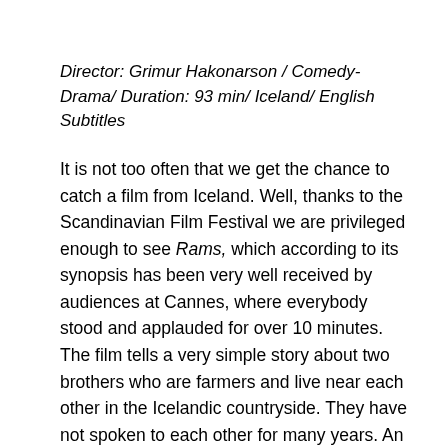Director: Grimur Hakonarson / Comedy-Drama/ Duration: 93 min/ Iceland/ English Subtitles
It is not too often that we get the chance to catch a film from Iceland. Well, thanks to the Scandinavian Film Festival we are privileged enough to see Rams, which according to its synopsis has been very well received by audiences at Cannes, where everybody stood and applauded for over 10 minutes. The film tells a very simple story about two brothers who are farmers and live near each other in the Icelandic countryside. They have not spoken to each other for many years. An infection that is threatening both farmers' stocks of